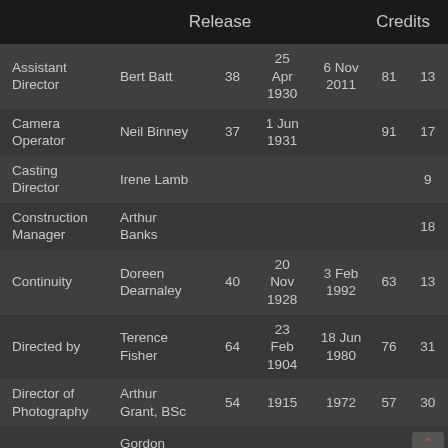Release   Credits
| Role | Name | Film Count | Birth | Death | Age | Credits |
| --- | --- | --- | --- | --- | --- | --- |
| Assistant Director | Bert Batt | 38 | 25 Apr 1930 | 6 Nov 2011 | 81 | 13 |
| Camera Operator | Neil Binney | 37 | 1 Jun 1931 |  | 91 | 17 |
| Casting Director | Irene Lamb |  |  |  |  | 9 |
| Construction Manager | Arthur Banks |  |  |  |  | 18 |
| Continuity | Doreen Dearnaley | 40 | 20 Nov 1928 | 3 Feb 1992 | 63 | 13 |
| Directed by | Terence Fisher | 64 | 23 Feb 1904 | 18 Jun 1980 | 76 | 31 |
| Director of Photography | Arthur Grant, BSc | 54 | 1915 | 1972 | 57 | 30 |
| Editor | Gordon Hales | 53 | 1916 | 1994 | 78 | 1 |
| From an | Anthony |  | 13 | 19 Mar |  |  |